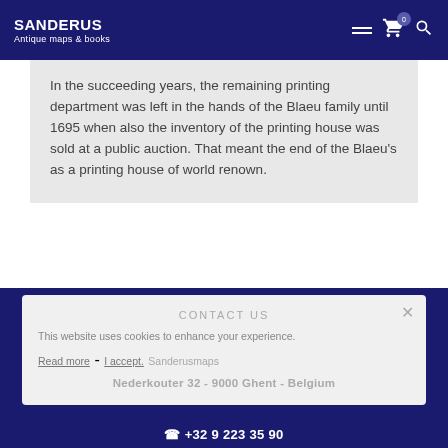SANDERUS Antique maps & books
In the succeeding years, the remaining printing department was left in the hands of the Blaeu family until 1695 when also the inventory of the printing house was sold at a public auction. That meant the end of the Blaeu's as a printing house of world renown.
CONTACT US
This website uses cookies to enhance your experience.
Read more - I accept.
Sanderusmaps
Nederkouter 32 - 9000 Ghent - Belgium
+32 9 223 35 90